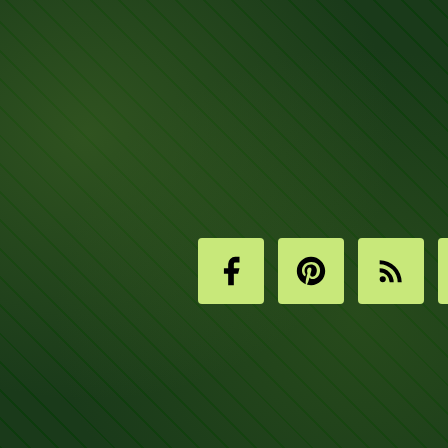[Figure (screenshot): Dark green background with money/dollar bills texture and overlay]
[Figure (infographic): Row of four social media icon buttons (Facebook, Pinterest, RSS, Twitter) with light green square backgrounds]
Search this website
[Figure (infographic): Advertisement banner: '4 Oil Stocks with Gigantic Upside' - Click for Oil Stocks on Fire: 4 Picks with Smoking Upside. It's free! Download Free Report button. Blue background with stock chart and oil pump graphics.]